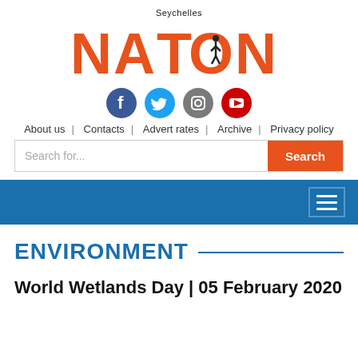[Figure (logo): Seychelles Nation newspaper logo with orange NATION text and figure icon inside the O]
[Figure (infographic): Row of four social media icons: Facebook (blue circle), Twitter (light blue circle), Instagram (grey circle), YouTube (red circle)]
About us | Contacts | Advert rates | Archive | Privacy policy
Search for...
ENVIRONMENT
World Wetlands Day | 05 February 2020